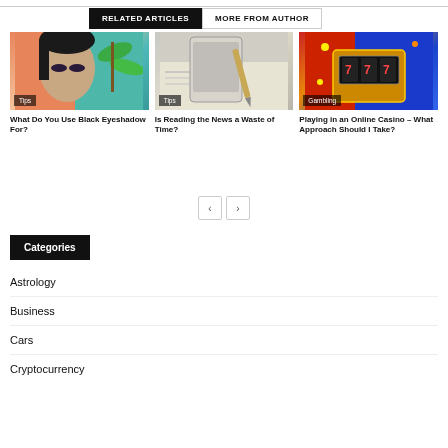RELATED ARTICLES | MORE FROM AUTHOR
[Figure (photo): Photo of an Asian woman with dramatic eye makeup, Tips badge]
What Do You Use Black Eyeshadow For?
[Figure (photo): Photo of a smartphone and pen on a newspaper, Tips badge]
Is Reading the News a Waste of Time?
[Figure (photo): Colorful casino slot machine graphic, Gambling badge]
Playing in an Online Casino – What Approach Should I Take?
Categories
Astrology
Business
Cars
Cryptocurrency